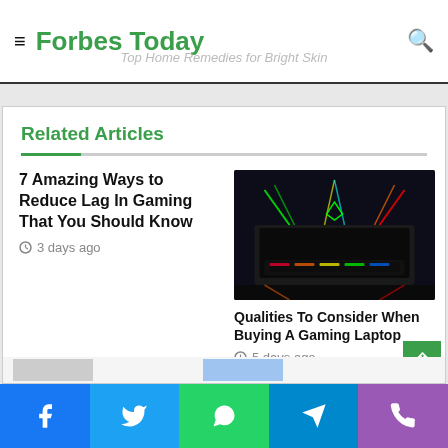Forbes Today
Related Articles
7 Amazing Ways to Reduce Lag In Gaming That You Should Know
3 days ago
[Figure (photo): Gaming laptop with RGB lighting in dark environment showing Razer laptop]
Qualities To Consider When Buying A Gaming Laptop
5 days ago